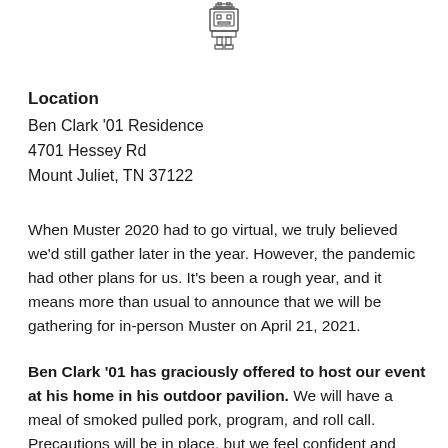[Figure (illustration): Small pixel-art style icon of a robot or electronic device at the top center of the page]
Location
Ben Clark '01 Residence
4701 Hessey Rd
Mount Juliet, TN 37122
When Muster 2020 had to go virtual, we truly believed we'd still gather later in the year. However, the pandemic had other plans for us. It's been a rough year, and it means more than usual to announce that we will be gathering for in-person Muster on April 21, 2021.
Ben Clark '01 has graciously offered to host our event at his home in his outdoor pavilion. We will have a meal of smoked pulled pork, program, and roll call. Precautions will be in place, but we feel confident and comfortable planning this gathering